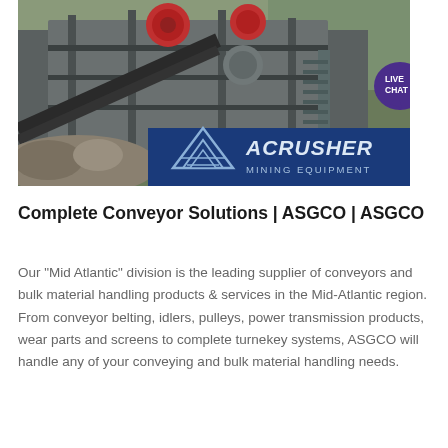[Figure (photo): Photo of industrial mining/crushing equipment with metal framework, conveyor systems, and an overlay logo reading 'ACRUSHER MINING EQUIPMENT' with a triangular logo on the lower right of the image. A 'LIVE CHAT' speech bubble icon is visible in the upper right corner of the image area.]
Complete Conveyor Solutions | ASGCO | ASGCO
Our "Mid Atlantic" division is the leading supplier of conveyors and bulk material handling products & services in the Mid-Atlantic region. From conveyor belting, idlers, pulleys, power transmission products, wear parts and screens to complete turnekey systems, ASGCO will handle any of your conveying and bulk material handling needs.